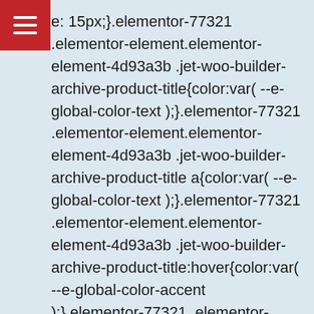e: 15px;}.elementor-77321 .elementor-element.elementor-element-4d93a3b .jet-woo-builder-archive-product-title{color:var( --e-global-color-text );}.elementor-77321 .elementor-element.elementor-element-4d93a3b .jet-woo-builder-archive-product-title a{color:var( --e-global-color-text );}.elementor-77321 .elementor-element.elementor-element-4d93a3b .jet-woo-builder-archive-product-title:hover{color:var( --e-global-color-accent );}.elementor-77321 .elementor-element.elementor-element-4d93a3b .jet-woo-builder-archive-product-title a:hover{color:var( --e-global-color-accent );}.elementor-77321 .elementor-element.elementor-element-4d93a3b > .elementor-widget-container{margin:0px 0px 0px 0px;padding:0px 15px 0px 15px;}.elementor-77321